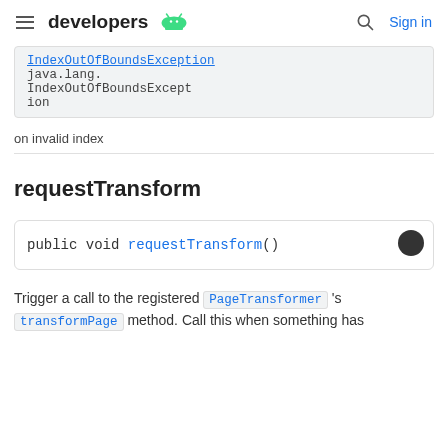developers | Sign in
IndexOutOfBoundsException java.lang.IndexOutOfBoundsException
on invalid index
requestTransform
public void requestTransform()
Trigger a call to the registered PageTransformer 's transformPage method. Call this when something has